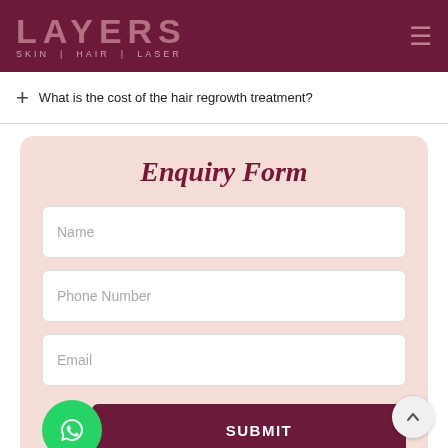LAYERS SKIN | HAIR | LASER
+ What is the cost of the hair regrowth treatment?
Enquiry Form
Name
Phone Number
Email
SUBMIT